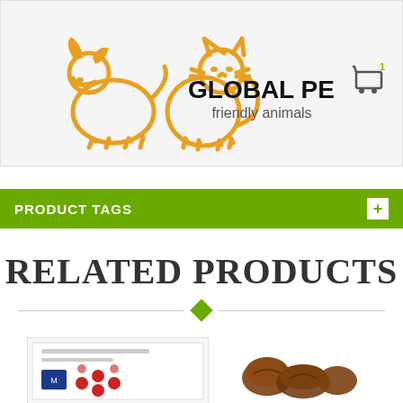[Figure (logo): Global Pet Farm logo with outline drawings of a dog and cat in orange/gold color, with text GLOBAL PET FARM in bold black and 'friendly animals' subtitle]
[Figure (illustration): Shopping cart icon with superscript 1 badge]
PRODUCT TAGS
RELATED PRODUCTS
[Figure (photo): Product thumbnail - appears to be a pet product package with red dots/circles visible]
[Figure (photo): Product thumbnail - appears to be pet treats or food items, brown colored]